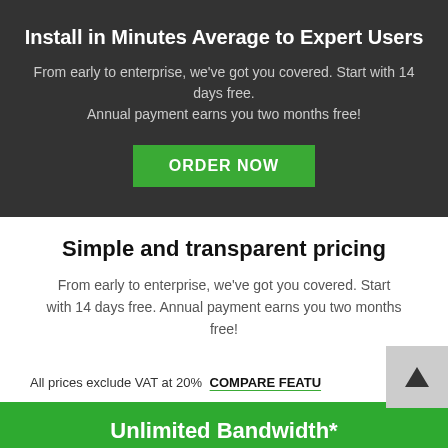Install in Minutes Average to Expert Users
From early to enterprise, we've got you covered. Start with 14 days free. Annual payment earns you two months free!
ORDER NOW
Simple and transparent pricing
From early to enterprise, we've got you covered. Start with 14 days free. Annual payment earns you two months free!
All prices exclude VAT at 20% COMPARE FEATURES
Unlimited Bandwidth*
Yep, because like Cell Phone Overage Charges,